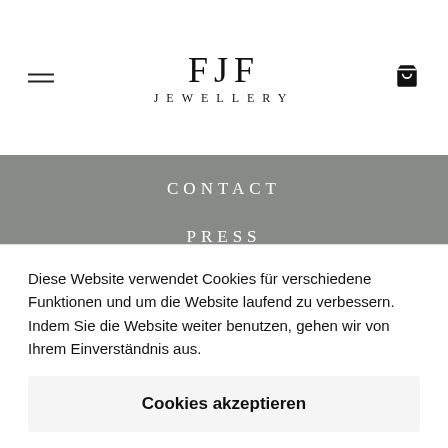FJF JEWELLERY
CONTACT
PRESS
FAQ
RETURNS
LEGAL
IMPRINT
Diese Website verwendet Cookies für verschiedene Funktionen und um die Website laufend zu verbessern. Indem Sie die Website weiter benutzen, gehen wir von Ihrem Einverständnis aus.
Cookies akzeptieren